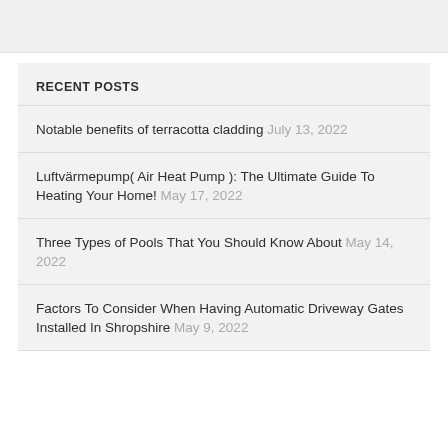RECENT POSTS
Notable benefits of terracotta cladding July 13, 2022
Luftvärmepump( Air Heat Pump ): The Ultimate Guide To Heating Your Home! May 17, 2022
Three Types of Pools That You Should Know About May 14, 2022
Factors To Consider When Having Automatic Driveway Gates Installed In Shropshire May 9, 2022